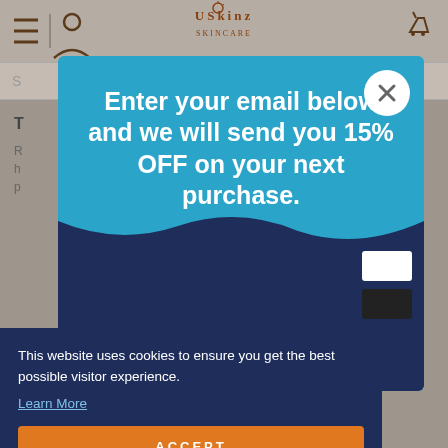[Figure (screenshot): USkinz website header with navigation icons (hamburger menu, user icon, logo, cart icon) and a search bar below]
[Figure (screenshot): Email signup popup with cyan/blue background reading 'Enter your email below and we will send you 15% OFF on your next purchase.' with a close X button]
Enter your email below and we will send you 15% OFF on your next purchase.
This website uses cookies to ensure you get the best possible visitor experience. Learn More
ACCEPT